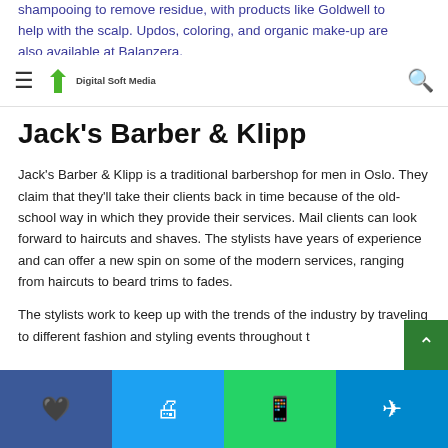shampooing to remove residue, with products like Goldwell to help with the scalp. Updos, coloring, and organic make-up are also available at Balanzera.
Digital Soft Media
Jack's Barber & Klipp
Jack's Barber & Klipp is a traditional barbershop for men in Oslo. They claim that they'll take their clients back in time because of the old-school way in which they provide their services. Mail clients can look forward to haircuts and shaves. The stylists have years of experience and can offer a new spin on some of the modern services, ranging from haircuts to beard trims to fades.
The stylists work to keep up with the trends of the industry by traveling to different fashion and styling events throughout t…